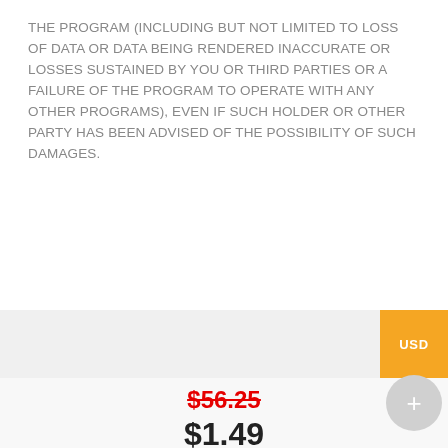THE PROGRAM (INCLUDING BUT NOT LIMITED TO LOSS OF DATA OR DATA BEING RENDERED INACCURATE OR LOSSES SUSTAINED BY YOU OR THIRD PARTIES OR A FAILURE OF THE PROGRAM TO OPERATE WITH ANY OTHER PROGRAMS), EVEN IF SUCH HOLDER OR OTHER PARTY HAS BEEN ADVISED OF THE POSSIBILITY OF SUCH DAMAGES.
$56.25 $1.49